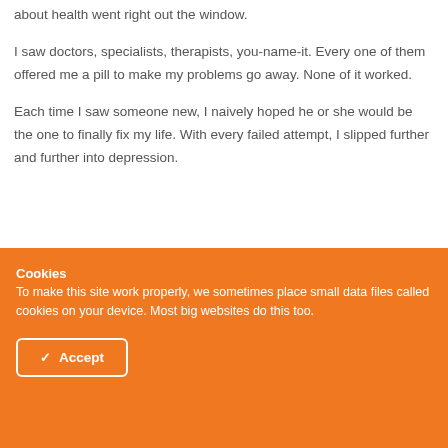about health went right out the window.
I saw doctors, specialists, therapists, you-name-it. Every one of them offered me a pill to make my problems go away. None of it worked.
Each time I saw someone new, I naively hoped he or she would be the one to finally fix my life. With every failed attempt, I slipped further and further into depression.
Cookies
To make this site work properly, we sometimes place small data files called cookies on your device. Most big websites do this too.
✓ Accept